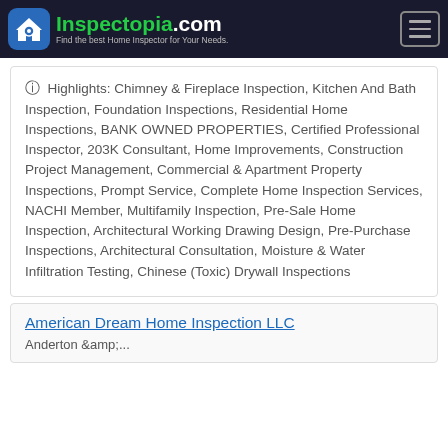Inspectopia.com — Find the best Home Inspector for Your Needs.
Highlights: Chimney & Fireplace Inspection, Kitchen And Bath Inspection, Foundation Inspections, Residential Home Inspections, BANK OWNED PROPERTIES, Certified Professional Inspector, 203K Consultant, Home Improvements, Construction Project Management, Commercial & Apartment Property Inspections, Prompt Service, Complete Home Inspection Services, NACHI Member, Multifamily Inspection, Pre-Sale Home Inspection, Architectural Working Drawing Design, Pre-Purchase Inspections, Architectural Consultation, Moisture & Water Infiltration Testing, Chinese (Toxic) Drywall Inspections
American Dream Home Inspection LLC